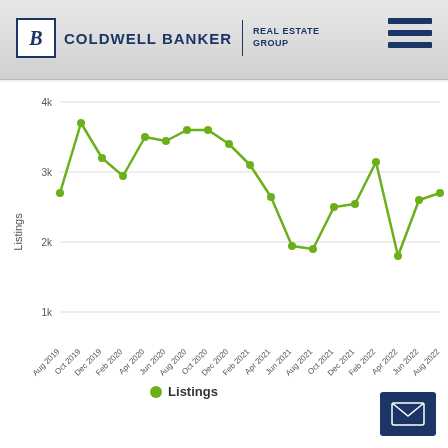[Figure (logo): Coldwell Banker Real Estate Group logo with stylized CB monogram]
[Figure (line-chart): Listings over time]
Listings
[Figure (other): Email contact button icon (envelope)]